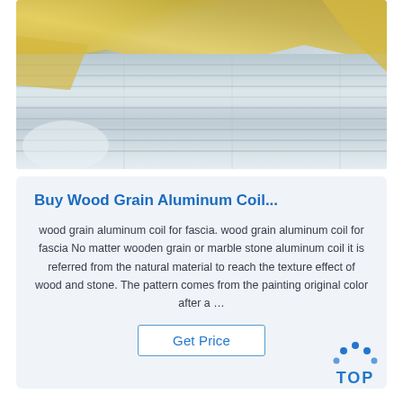[Figure (photo): Photo of aluminum coil rolls with silver metallic surface and gold/yellow packaging material visible at top, stored in a box or crate]
Buy Wood Grain Aluminum Coil...
wood grain aluminum coil for fascia. wood grain aluminum coil for fascia No matter wooden grain or marble stone aluminum coil it is referred from the natural material to reach the texture effect of wood and stone. The pattern comes from the painting original color after a …
[Figure (logo): TOP logo with blue dots arranged in an arc above the text TOP in blue letters]